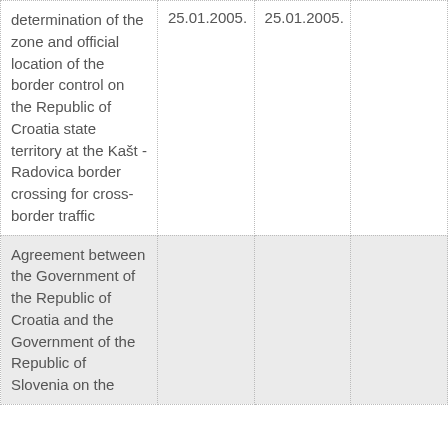| determination of the zone and official location of the border control on the Republic of Croatia state territory at the Kašt - Radovica border crossing for cross-border traffic | 25.01.2005. | 25.01.2005. |  |
| Agreement between the Government of the Republic of Croatia and the Government of the Republic of Slovenia on the |  |  |  |